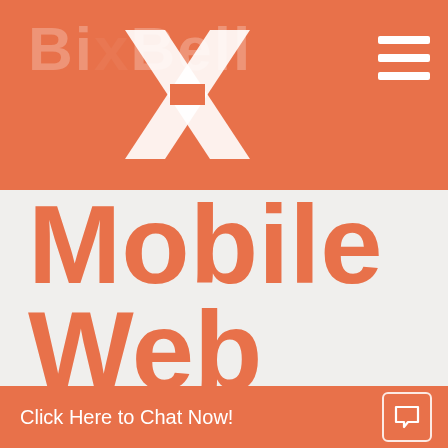Bix X Bell
Mobile Web Design
Click Here to Chat Now!